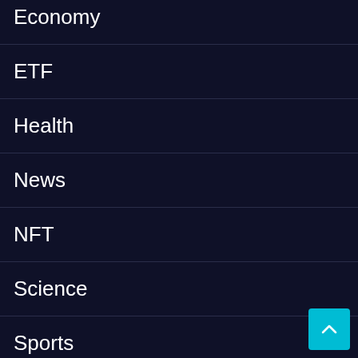Economy
ETF
Health
News
NFT
Science
Sports
Tech
Trading
Uncategorized